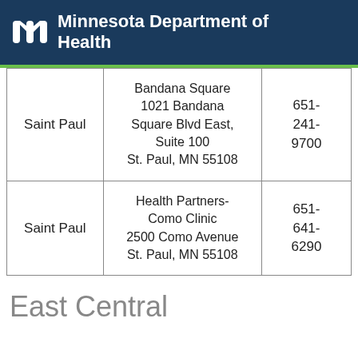Minnesota Department of Health
| Saint Paul | Bandana Square
1021 Bandana Square Blvd East, Suite 100
St. Paul, MN 55108 | 651-241-9700 |
| Saint Paul | Health Partners-Como Clinic
2500 Como Avenue
St. Paul, MN 55108 | 651-641-6290 |
East Central